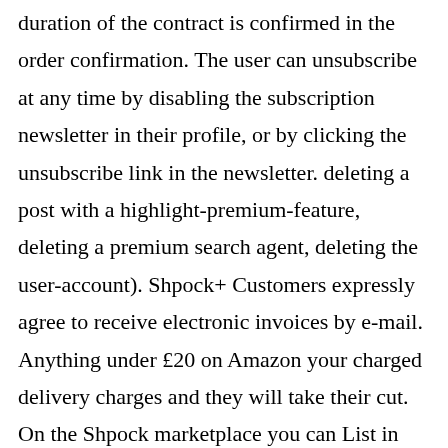duration of the contract is confirmed in the order confirmation. The user can unsubscribe at any time by disabling the subscription newsletter in their profile, or by clicking the unsubscribe link in the newsletter. deleting a post with a highlight-premium-feature, deleting a premium search agent, deleting the user-account). Shpock+ Customers expressly agree to receive electronic invoices by e-mail. Anything under £20 on Amazon your charged delivery charges and they will take their cut. On the Shpock marketplace you can List in seconds: a photo or two, a description, a price…